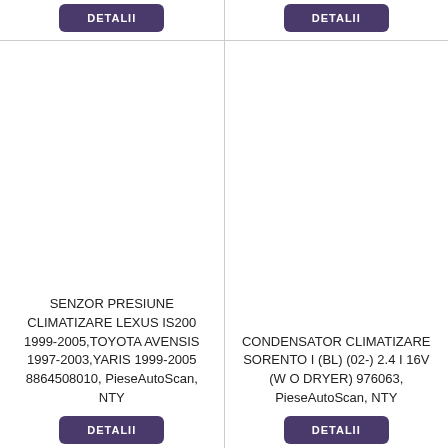[Figure (other): DETALII button top left (purple/dark violet rounded rectangle)]
[Figure (other): DETALII button top right (purple/dark violet rounded rectangle)]
[Figure (photo): Empty white product image area, left column]
[Figure (photo): Empty white product image area, right column]
SENZOR PRESIUNE CLIMATIZARE LEXUS IS200 1999-2005,TOYOTA AVENSIS 1997-2003,YARIS 1999-2005 8864508010, PieseAutoScan, NTY
CONDENSATOR CLIMATIZARE SORENTO I (BL) (02-) 2.4 I 16V (W O DRYER) 976063, PieseAutoScan, NTY
[Figure (other): DETALII button bottom left (partially visible, purple/dark violet)]
[Figure (other): DETALII button bottom right (partially visible, purple/dark violet)]